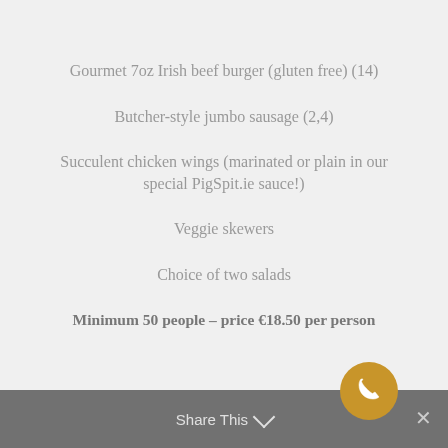Gourmet 7oz Irish beef burger (gluten free) (14)
Butcher-style jumbo sausage (2,4)
Succulent chicken wings (marinated or plain in our special PigSpit.ie sauce!)
Veggie skewers
Choice of two salads
Minimum 50 people – price €18.50 per person
Share This  ×